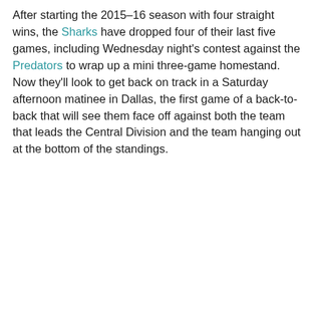After starting the 2015–16 season with four straight wins, the Sharks have dropped four of their last five games, including Wednesday night's contest against the Predators to wrap up a mini three-game homestand. Now they'll look to get back on track in a Saturday afternoon matinee in Dallas, the first game of a back-to-back that will see them face off against both the team that leads the Central Division and the team hanging out at the bottom of the standings.